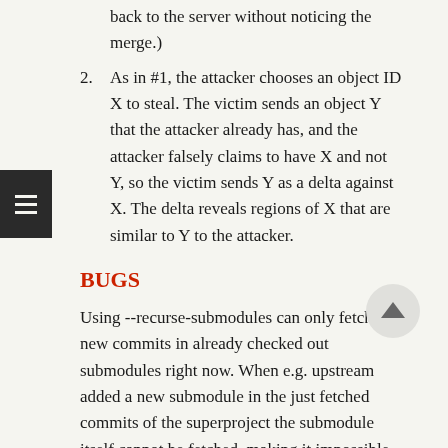back to the server without noticing the merge.)
2. As in #1, the attacker chooses an object ID X to steal. The victim sends an object Y that the attacker already has, and the attacker falsely claims to have X and not Y, so the victim sends Y as a delta against X. The delta reveals regions of X that are similar to Y to the attacker.
BUGS
Using --recurse-submodules can only fetch new commits in already checked out submodules right now. When e.g. upstream added a new submodule in the just fetched commits of the superproject the submodule itself cannot be fetched, making it impossible to check out that submodule later without having to do a fetch again. This is expected to be fixed in a future Git version.
SEE ALSO